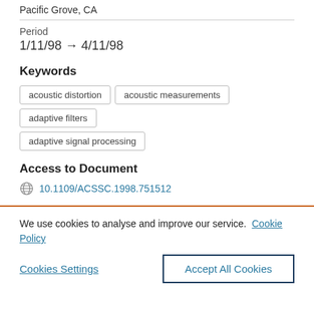Pacific Grove, CA
Period
1/11/98 → 4/11/98
Keywords
acoustic distortion
acoustic measurements
adaptive filters
adaptive signal processing
Access to Document
10.1109/ACSSC.1998.751512
We use cookies to analyse and improve our service. Cookie Policy
Cookies Settings
Accept All Cookies